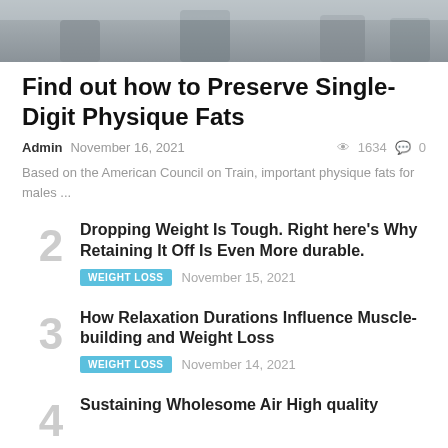[Figure (photo): Grayscale photo of people at the top of the page]
Find out how to Preserve Single-Digit Physique Fats
Admin  November 16, 2021    1634  0
Based on the American Council on Train, important physique fats for males ...
2  Dropping Weight Is Tough. Right here's Why Retaining It Off Is Even More durable.  WEIGHT LOSS  November 15, 2021
3  How Relaxation Durations Influence Muscle-building and Weight Loss  WEIGHT LOSS  November 14, 2021
4  Sustaining Wholesome Air High quality